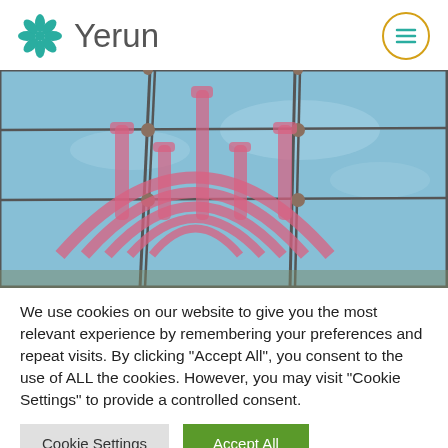Yerun
[Figure (photo): Glass facade with pink menorah/Yerun logo printed on glass panels, blue sky visible through the glass, metal connectors on the panels]
We use cookies on our website to give you the most relevant experience by remembering your preferences and repeat visits. By clicking "Accept All", you consent to the use of ALL the cookies. However, you may visit "Cookie Settings" to provide a controlled consent.
Cookie Settings | Accept All